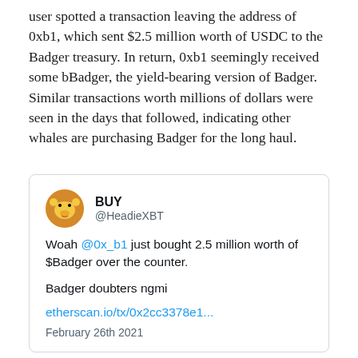user spotted a transaction leaving the address of 0xb1, which sent $2.5 million worth of USDC to the Badger treasury. In return, 0xb1 seemingly received some bBadger, the yield-bearing version of Badger. Similar transactions worth millions of dollars were seen in the days that followed, indicating other whales are purchasing Badger for the long haul.
[Figure (screenshot): Embedded tweet from @HeadieXBT with username BUY, avatar of cartoon character. Tweet text: 'Woah @0x_b1 just bought 2.5 million worth of $Badger over the counter. Badger doubters ngmi etherscan.io/tx/0x2cc3378e1... February 26th 2021']